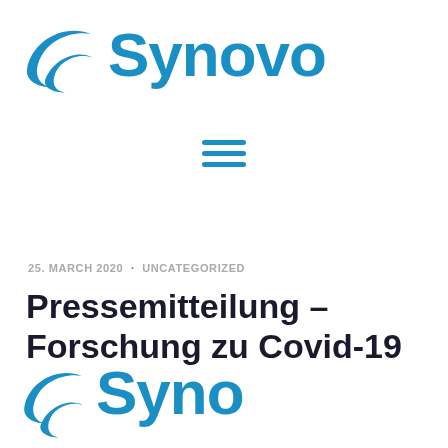[Figure (logo): Synovo company logo with blue swoosh/wave icon and blue bold text 'Synovo']
[Figure (other): Hamburger menu icon with three horizontal blue lines]
25. MARCH 2020 · UNCATEGORIZED
Pressemitteilung – Forschung zu Covid-19
[Figure (logo): Synovo company logo repeated at bottom of page, partially cropped]